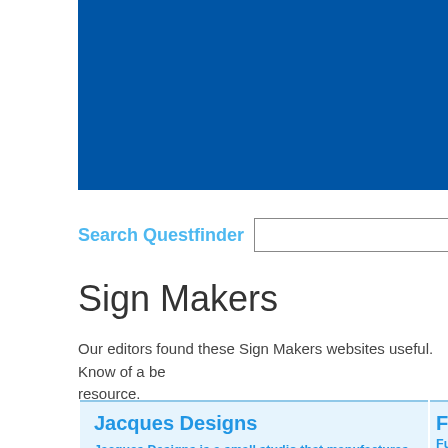[Figure (other): Blue header banner background]
Search Questfinder
Sign Makers
Our editors found these Sign Makers websites useful. Know of a better resource.
Jacques Designs
Jacques Designs is a small studio that manufactures personalised wall art, photo frames and signs. Each piece is completely handmade, which gives every piece it's own individuality. In addition to the large gallery of designs, you can also choose a custom commission, and view previous projects.
Fusion S...
Fusion S... signs, gr... National... manufac... Graphics turnarou...